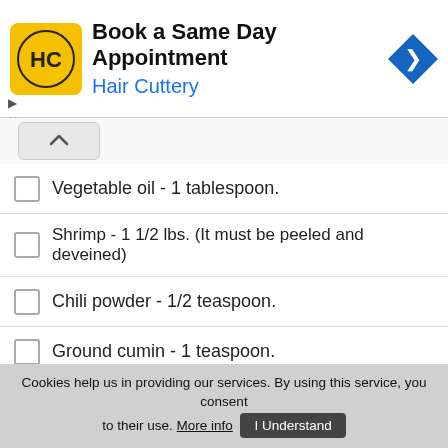[Figure (infographic): Hair Cuttery advertisement banner with logo, 'Book a Same Day Appointment' text, and navigation arrow icon]
Vegetable oil - 1 tablespoon.
Shrimp - 1 1/2 lbs. (It must be peeled and deveined)
Chili powder - 1/2 teaspoon.
Ground cumin - 1 teaspoon.
Lime juice - Taken out of 2 limes.
Extra virgin olive oil - 1/4 cup.
Crumbled cotija - for garnishing.
Chopped cilantro - for garnishing.
Cookies help us in providing our services. By using this service, you consent to their use. More info  I Understand